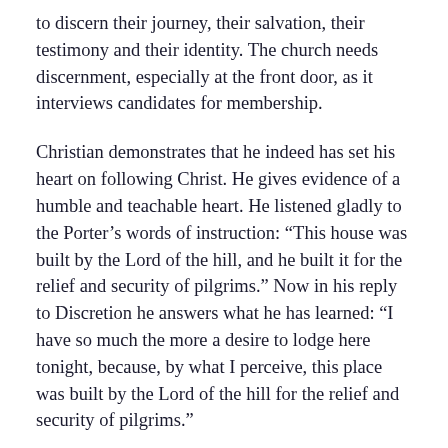to discern their journey, their salvation, their testimony and their identity. The church needs discernment, especially at the front door, as it interviews candidates for membership.
Christian demonstrates that he indeed has set his heart on following Christ. He gives evidence of a humble and teachable heart. He listened gladly to the Porter's words of instruction: “This house was built by the Lord of the hill, and he built it for the relief and security of pilgrims.” Now in his reply to Discretion he answers what he has learned: “I have so much the more a desire to lodge here tonight, because, by what I perceive, this place was built by the Lord of the hill for the relief and security of pilgrims.”
Discretion hears Christian’s words with favor and